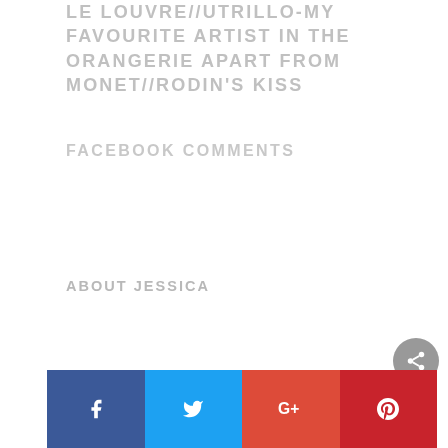LE LOUVRE//UTRILLO-MY FAVOURITE ARTIST IN THE ORANGERIE APART FROM MONET//RODIN'S KISS
FACEBOOK COMMENTS
ABOUT JESSICA
[Figure (other): Social sharing bar at bottom with Facebook (blue), Twitter (light blue), Google+ (red-orange), and Pinterest (dark red) buttons, each with their respective icons in white. A gray circular share button appears above the bar at the right side.]